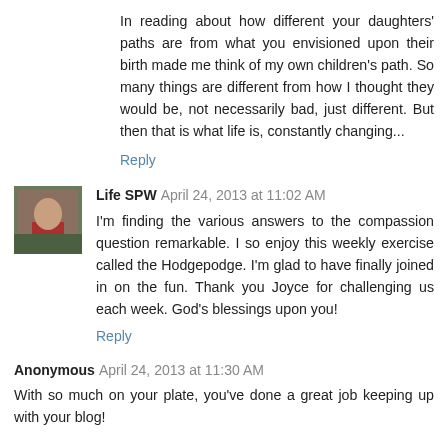In reading about how different your daughters' paths are from what you envisioned upon their birth made me think of my own children's path. So many things are different from how I thought they would be, not necessarily bad, just different. But then that is what life is, constantly changing...
Reply
Life SPW  April 24, 2013 at 11:02 AM
I'm finding the various answers to the compassion question remarkable. I so enjoy this weekly exercise called the Hodgepodge. I'm glad to have finally joined in on the fun. Thank you Joyce for challenging us each week. God's blessings upon you!
Reply
Anonymous  April 24, 2013 at 11:30 AM
With so much on your plate, you've done a great job keeping up with your blog!